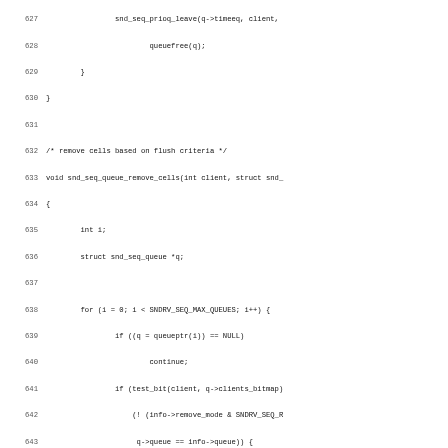Source code listing lines 627-659, C code for ALSA sound sequencer queue management functions: snd_seq_queue_remove_cells and queue_broadcast_event